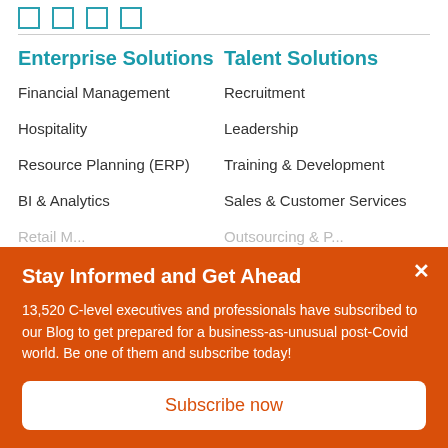[Figure (other): Row of small square social media or navigation icons with teal/blue outline borders]
Enterprise Solutions
Talent Solutions
Financial Management
Recruitment
Hospitality
Leadership
Resource Planning (ERP)
Training & Development
BI & Analytics
Sales & Customer Services
Stay Informed and Get Ahead
13,520 C-level executives and professionals have subscribed to our Blog to get prepared for a business-as-unusual post-Covid world. Be one of them and subscribe today!
Subscribe now